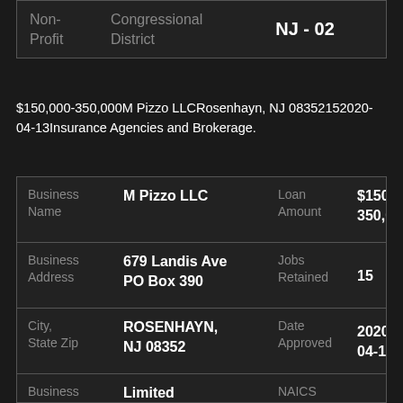| Non-Profit | Congressional District |  |
| --- | --- | --- |
|  |  | NJ - 02 |
$150,000-350,000M Pizzo LLCRosenhayn, NJ 08352152020-04-13Insurance Agencies and Brokerage.
| Business Name | M Pizzo LLC | Loan Amount | $150,000-350,000 |
| --- | --- | --- | --- |
| Business Address | 679 Landis Ave
PO Box 390 | Jobs Retained | 15 |
| City, State Zip | ROSENHAYN, NJ 08352 | Date Approved | 2020-04-13 |
| Business Type | Limited Liability | NAICS Code | 524210 |